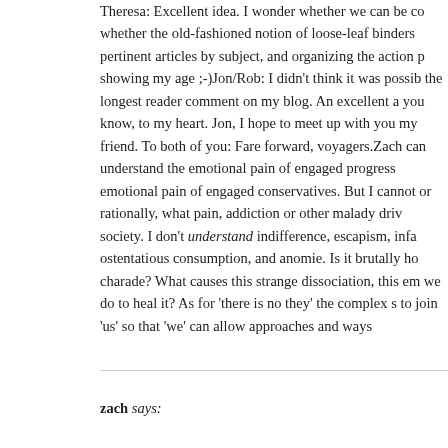Theresa: Excellent idea. I wonder whether we can be co whether the old-fashioned notion of loose-leaf binders pertinent articles by subject, and organizing the action p showing my age ;-)Jon/Rob: I didn't think it was possib the longest reader comment on my blog. An excellent a you know, to my heart. Jon, I hope to meet up with you my friend. To both of you: Fare forward, voyagers.Zach can understand the emotional pain of engaged progress emotional pain of engaged conservatives. But I cannot or rationally, what pain, addiction or other malady driv society. I don't understand indifference, escapism, infa ostentatious consumption, and anomie. Is it brutally ho charade? What causes this strange dissociation, this em we do to heal it? As for 'there is no they' the complex s to join 'us' so that 'we' can allow approaches and ways
zach says: